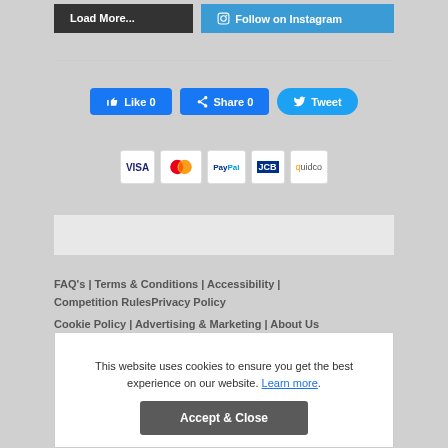[Figure (screenshot): Load More and Follow on Instagram buttons at top]
[Figure (infographic): Social share buttons: Like 0, Share 0, Tweet]
[Figure (infographic): Payment logos: VISA, Mastercard, PayPal, JCB, Quidco]
FAQ's | Terms & Conditions | Accessibility | Competition RulesPrivacy Policy
Cookie Policy | Advertising & Marketing | About Us
This website uses cookies to ensure you get the best experience on our website. Learn more.
Accept & Close